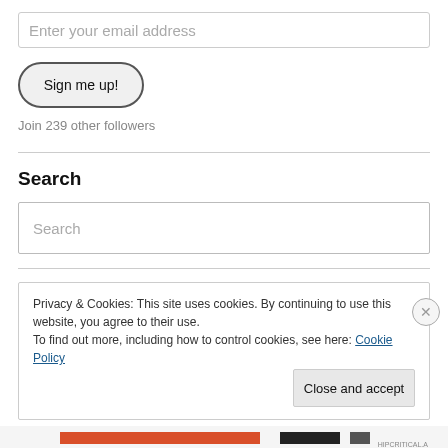Enter your email address
Sign me up!
Join 239 other followers
Search
Search
Privacy & Cookies: This site uses cookies. By continuing to use this website, you agree to their use.
To find out more, including how to control cookies, see here: Cookie Policy
Close and accept